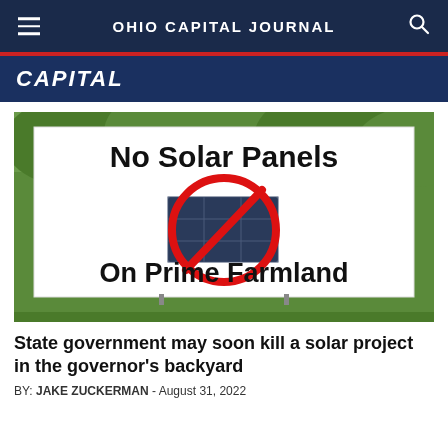OHIO CAPITAL JOURNAL
CAPITAL
[Figure (photo): A yard sign reading 'No Solar Panels On Prime Farmland' with a red circle-slash prohibition symbol over solar panels, placed on a grassy lawn.]
State government may soon kill a solar project in the governor's backyard
BY: JAKE ZUCKERMAN - August 31, 2022